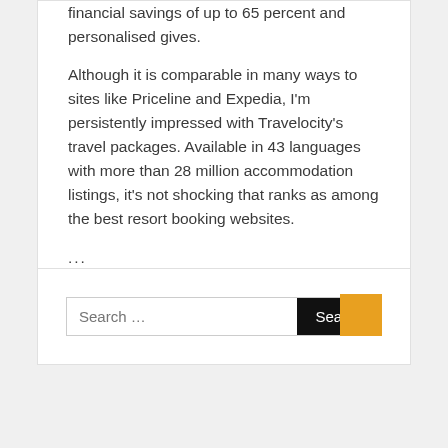financial savings of up to 65 percent and personalised gives.
Although it is comparable in many ways to sites like Priceline and Expedia, I'm persistently impressed with Travelocity's travel packages. Available in 43 languages with more than 28 million accommodation listings, it's not shocking that ranks as among the best resort booking websites.
...